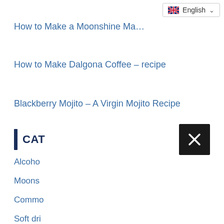[Figure (screenshot): Language selector dropdown showing UK flag and 'English' with chevron]
How to Make a Moonshine Ma…
How to Make Dalgona Coffee – recipe
Blackberry Mojito – A Virgin Mojito Recipe
CAT
Alcoho
Moons
Commo
Soft dri
Wine